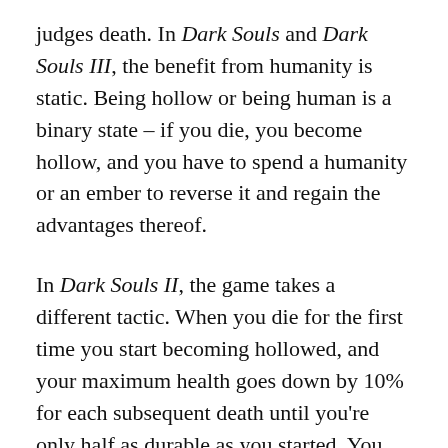judges death. In Dark Souls and Dark Souls III, the benefit from humanity is static. Being hollow or being human is a binary state – if you die, you become hollow, and you have to spend a humanity or an ember to reverse it and regain the advantages thereof.
In Dark Souls II, the game takes a different tactic. When you die for the first time you start becoming hollowed, and your maximum health goes down by 10% for each subsequent death until you're only half as durable as you started. You return to 100% when you consume a Human Effigy, and the process starts over. Dying over and over has a cumulative penalty, which can hinder a starting player greatly.